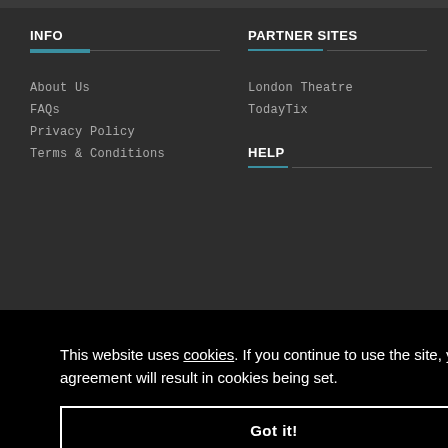INFO
About Us
FAQs
Privacy Policy
Terms & Conditions
PARTNER SITES
London Theatre
TodayTix
HELP
Support
Press Inquiries
This website uses cookies. If you continue to use the site, your agreement will result in cookies being set.
Got it!
© 2022 NewYorkTheatreGuide.com